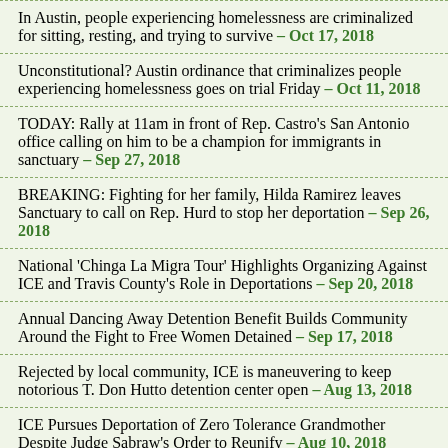In Austin, people experiencing homelessness are criminalized for sitting, resting, and trying to survive – Oct 17, 2018
Unconstitutional? Austin ordinance that criminalizes people experiencing homelessness goes on trial Friday – Oct 11, 2018
TODAY: Rally at 11am in front of Rep. Castro's San Antonio office calling on him to be a champion for immigrants in sanctuary – Sep 27, 2018
BREAKING: Fighting for her family, Hilda Ramirez leaves Sanctuary to call on Rep. Hurd to stop her deportation – Sep 26, 2018
National 'Chinga La Migra Tour' Highlights Organizing Against ICE and Travis County's Role in Deportations – Sep 20, 2018
Annual Dancing Away Detention Benefit Builds Community Around the Fight to Free Women Detained – Sep 17, 2018
Rejected by local community, ICE is maneuvering to keep notorious T. Don Hutto detention center open – Aug 13, 2018
ICE Pursues Deportation of Zero Tolerance Grandmother Despite Judge Sabraw's Order to Reunify – Aug 10, 2018
BREAKING: Williamson County votes to end contract with T. Don